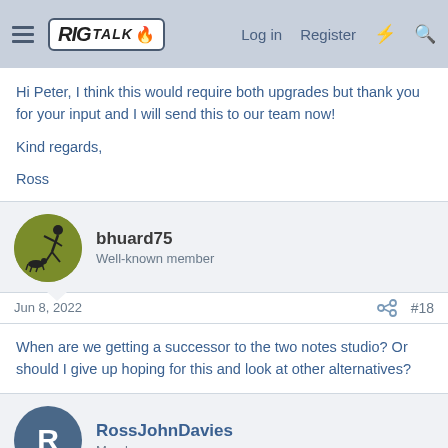RIG TALK — Log in  Register
Hi Peter, I think this would require both upgrades but thank you for your input and I will send this to our team now!

Kind regards,

Ross
bhuard75
Well-known member
Jun 8, 2022  #18
When are we getting a successor to the two notes studio? Or should I give up hoping for this and look at other alternatives?
RossJohnDavies
Member